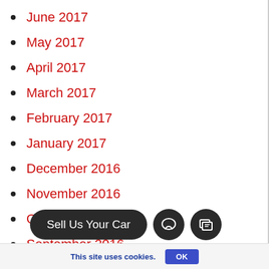June 2017
May 2017
April 2017
March 2017
February 2017
January 2017
December 2016
November 2016
October 2016
September 2016
August 2016
Sell Us Your Car
This site uses cookies. OK